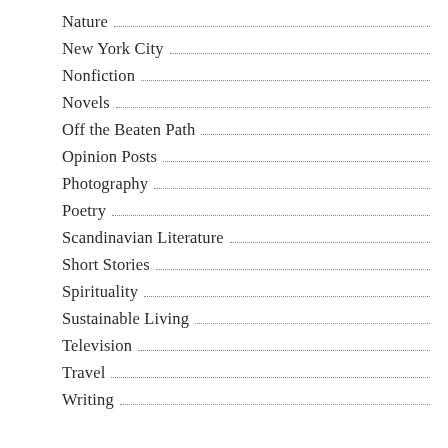Nature
New York City
Nonfiction
Novels
Off the Beaten Path
Opinion Posts
Photography
Poetry
Scandinavian Literature
Short Stories
Spirituality
Sustainable Living
Television
Travel
Writing